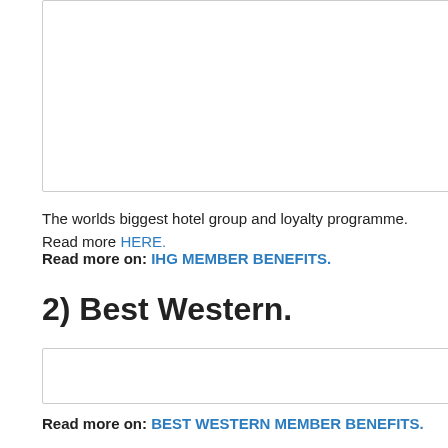[Figure (other): Cropped image box at top of page (IHG hotel loyalty content image)]
The worlds biggest hotel group and loyalty programme.  Read more HERE.
Read more on: IHG MEMBER BENEFITS.
2) Best Western.
[Figure (other): Image box for Best Western section]
Read more on: BEST WESTERN MEMBER BENEFITS.